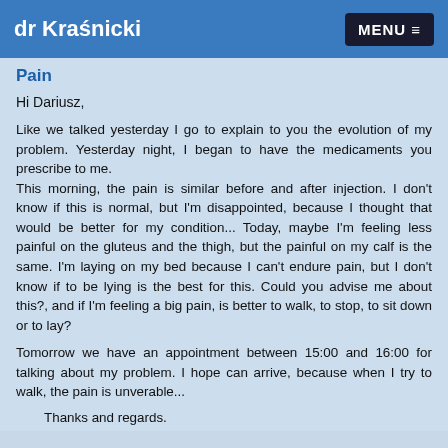dr Kraśnicki   MENU ≡
Pain
Hi Dariusz,
Like we talked yesterday I go to explain to you the evolution of my problem. Yesterday night, I began to have the medicaments you prescribe to me.
This morning, the pain is similar before and after injection. I don't know if this is normal, but I'm disappointed, because I thought that would be better for my condition... Today, maybe I'm feeling less painful on the gluteus and the thigh, but the painful on my calf is the same. I'm laying on my bed because I can't endure pain, but I don't know if to be lying is the best for this. Could you advise me about this?, and if I'm feeling a big pain, is better to walk, to stop, to sit down or to lay?
Tomorrow we have an appointment between 15:00 and 16:00 for talking about my problem. I hope can arrive, because when I try to walk, the pain is unverable...
Thanks and regards.